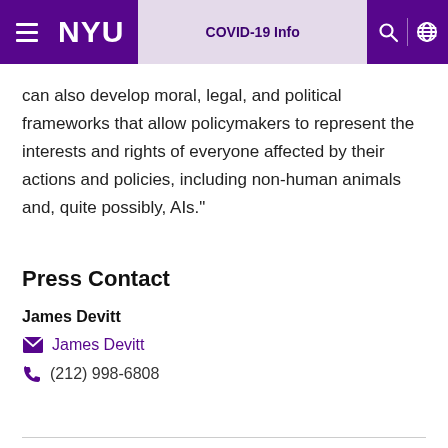NYU | COVID-19 Info
can also develop moral, legal, and political frameworks that allow policymakers to represent the interests and rights of everyone affected by their actions and policies, including non-human animals and, quite possibly, AIs."
Press Contact
James Devitt
James Devitt (email link)
(212) 998-6808